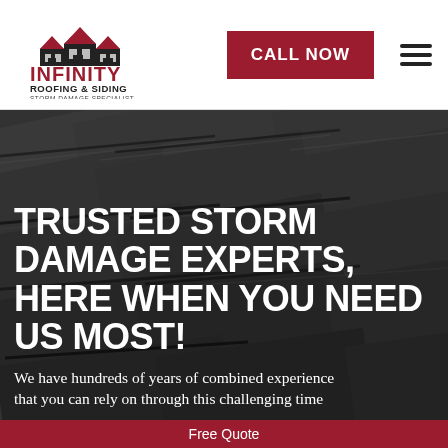[Figure (logo): Infinity Roofing & Siding - Storm Damage Specialist logo with house silhouettes and red roof accents]
CALL NOW
[Figure (other): Hamburger menu icon (three horizontal bars)]
[Figure (photo): Close-up photo of dark gray roof shingles with overlapping layers]
TRUSTED STORM DAMAGE EXPERTS, HERE WHEN YOU NEED US MOST!
We have hundreds of years of combined experience that you can rely on through this challenging time
Free Quote